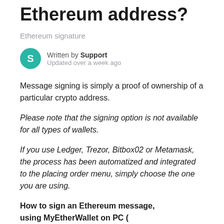Ethereum address?
Ethereum signature
Written by Support
Updated over a week ago
Message signing is simply a proof of ownership of a particular crypto address.
Please note that the signing option is not available for all types of wallets.
If you use Ledger, Trezor, Bitbox02 or Metamask, the process has been automatized and integrated to the placing order menu, simply choose the one you are using.
How to sign an Ethereum message, using MyEtherWallet on PC (